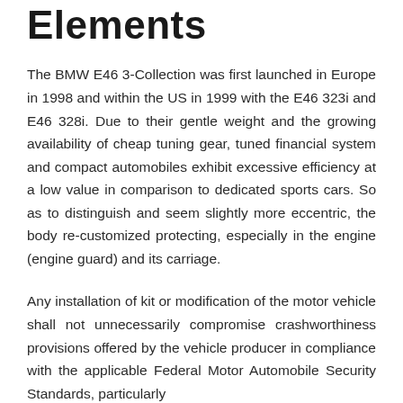Elements
The BMW E46 3-Collection was first launched in Europe in 1998 and within the US in 1999 with the E46 323i and E46 328i. Due to their gentle weight and the growing availability of cheap tuning gear, tuned financial system and compact automobiles exhibit excessive efficiency at a low value in comparison to dedicated sports cars. So as to distinguish and seem slightly more eccentric, the body re-customized protecting, especially in the engine (engine guard) and its carriage.
Any installation of kit or modification of the motor vehicle shall not unnecessarily compromise crashworthiness provisions offered by the vehicle producer in compliance with the applicable Federal Motor Automobile Security Standards, particularly